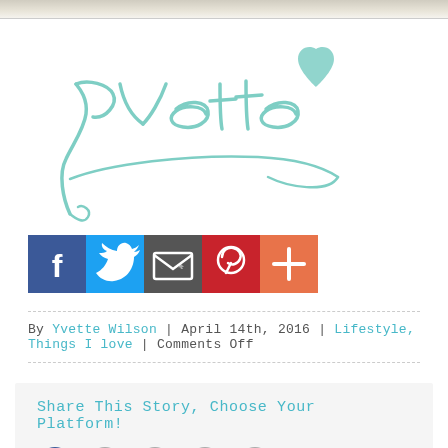[Figure (photo): Top portion of a food photo, partially cropped]
[Figure (illustration): Handwritten cursive signature 'Yvette' with a heart and decorative underline flourish in mint/teal color]
[Figure (infographic): Social share buttons: Facebook (blue), Twitter (light blue), Email/envelope (dark gray), Pinterest (red), More/plus (orange)]
By Yvette Wilson | April 14th, 2016 | Lifestyle, Things I love | Comments Off
Share This Story, Choose Your Platform!
[Figure (infographic): Share icons row: Facebook, Twitter, LinkedIn, Pinterest, Email]